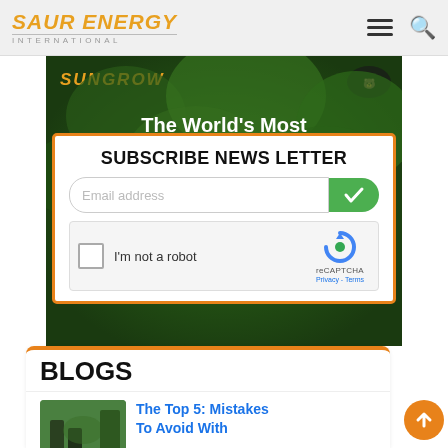[Figure (logo): Saur Energy International logo in orange italic bold text with 'INTERNATIONAL' subtitle]
[Figure (screenshot): Sungrow advertisement banner with green foliage background and 'The World's Most' tagline]
SUBSCRIBE NEWS LETTER
Email address
I'm not a robot
reCAPTCHA
Privacy - Terms
BLOGS
The Top 5: Mistakes To Avoid With